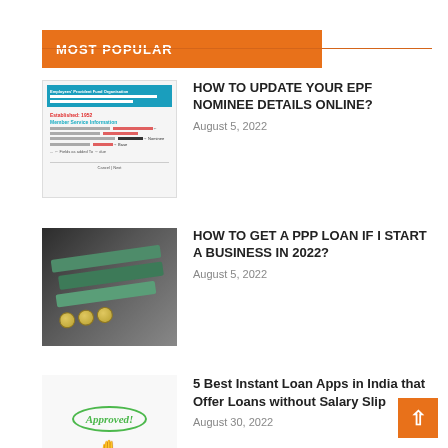MOST POPULAR
HOW TO UPDATE YOUR EPF NOMINEE DETAILS ONLINE?
August 5, 2022
HOW TO GET A PPP LOAN IF I START A BUSINESS IN 2022?
August 5, 2022
5 Best Instant Loan Apps in India that Offer Loans without Salary Slip
August 30, 2022